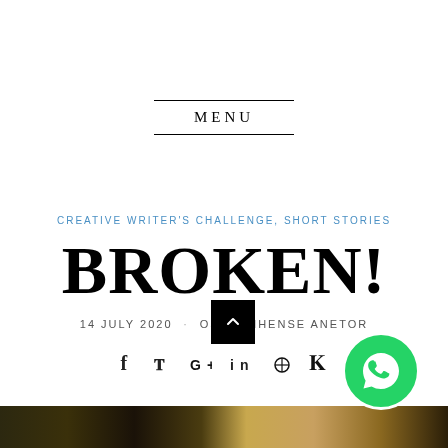MENU
CREATIVE WRITER'S CHALLENGE, SHORT STORIES
BROKEN!
14 JULY 2020 · OSELUMHENSE ANETOR
[Figure (infographic): Social media sharing icons: Facebook (f), Twitter, Google+, LinkedIn (in), Pinterest, VK]
[Figure (photo): Dark brownish photo strip at the bottom of the page showing various images]
[Figure (infographic): Black scroll-to-top button with upward caret arrow, and WhatsApp green circular icon]